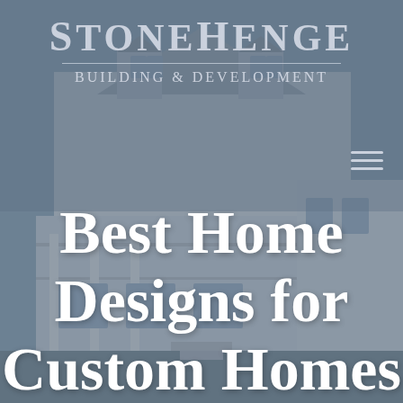[Figure (photo): Background photo of a large custom-built coastal home with wraparound porch, white siding, multiple dormers, and balconies, shown with a blue-grey semi-transparent overlay.]
STONEHENGE
BUILDING & DEVELOPMENT
Best Home Designs for Custom Homes on LBI